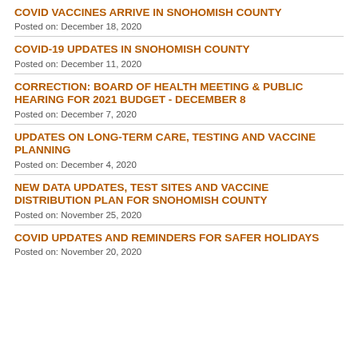COVID VACCINES ARRIVE IN SNOHOMISH COUNTY
Posted on: December 18, 2020
COVID-19 UPDATES IN SNOHOMISH COUNTY
Posted on: December 11, 2020
CORRECTION: BOARD OF HEALTH MEETING & PUBLIC HEARING FOR 2021 BUDGET - DECEMBER 8
Posted on: December 7, 2020
UPDATES ON LONG-TERM CARE, TESTING AND VACCINE PLANNING
Posted on: December 4, 2020
NEW DATA UPDATES, TEST SITES AND VACCINE DISTRIBUTION PLAN FOR SNOHOMISH COUNTY
Posted on: November 25, 2020
COVID UPDATES AND REMINDERS FOR SAFER HOLIDAYS
Posted on: November 20, 2020